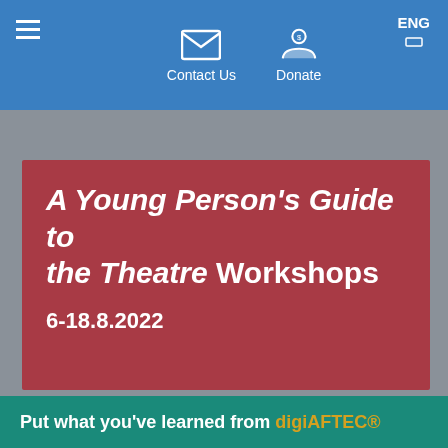Contact Us  Donate  ENG
A Young Person's Guide to the Theatre Workshops
6-18.8.2022
Put what you've learned from digiAFTEC®